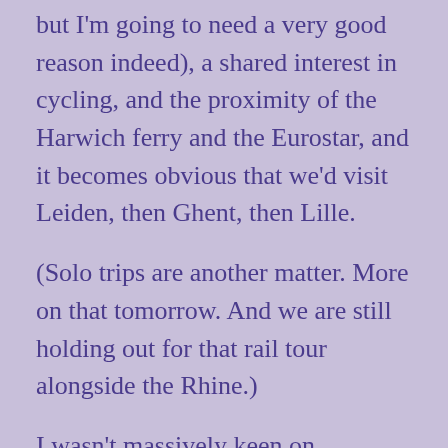but I'm going to need a very good reason indeed), a shared interest in cycling, and the proximity of the Harwich ferry and the Eurostar, and it becomes obvious that we'd visit Leiden, then Ghent, then Lille.
(Solo trips are another matter. More on that tomorrow. And we are still holding out for that rail tour alongside the Rhine.)
I wasn't massively keen on Amsterdam. My experience throughout my travels (again, more on that tomorrow, probably) has been that I prefer the smaller cities. But I did like the Netherlands more generally, and I'd like to go back sometime when All This is under control. In the meantime, I'm exploring